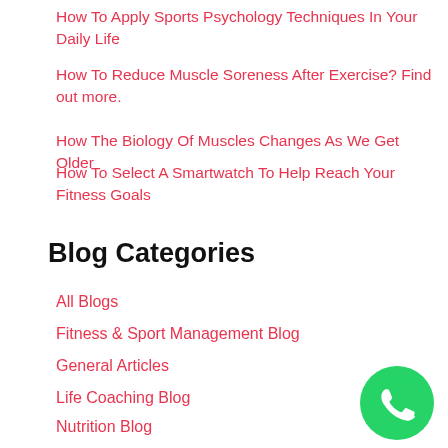How To Apply Sports Psychology Techniques In Your Daily Life
How To Reduce Muscle Soreness After Exercise? Find out more.
How The Biology Of Muscles Changes As We Get Older
How To Select A Smartwatch To Help Reach Your Fitness Goals
Blog Categories
All Blogs
Fitness & Sport Management Blog
General Articles
Life Coaching Blog
Nutrition Blog
Personal/Fitness Training Blog
Pilates Blog
[Figure (logo): WhatsApp green circle button icon]